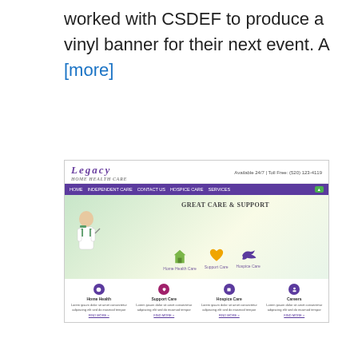worked with CSDEF to produce a vinyl banner for their next event. A [more]
[Figure (screenshot): Screenshot of Legacy Home Health Care website showing the homepage with header, navigation bar in purple, hero section with nurse image and icons for home health care, support care, and hospice care, and a bottom section with four columns.]
Legacy Home Health Care's Website Re-design
Legacy Home Health Care provides home health care, support care and hospice care in Southern Arizona. Their goal is to achieve their patients' independence through great care and support.